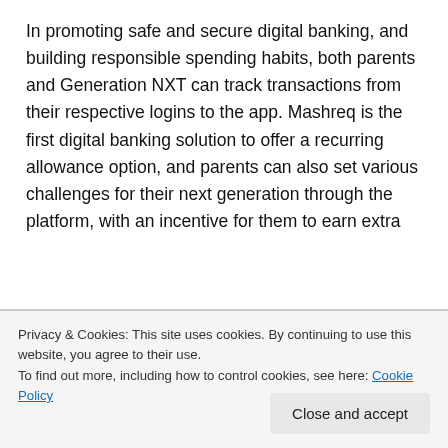In promoting safe and secure digital banking, and building responsible spending habits, both parents and Generation NXT can track transactions from their respective logins to the app. Mashreq is the first digital banking solution to offer a recurring allowance option, and parents can also set various challenges for their next generation through the platform, with an incentive for them to earn extra
Privacy & Cookies: This site uses cookies. By continuing to use this website, you agree to their use.
To find out more, including how to control cookies, see here: Cookie Policy
Close and accept
the option to apply on the Mashreq Mobile